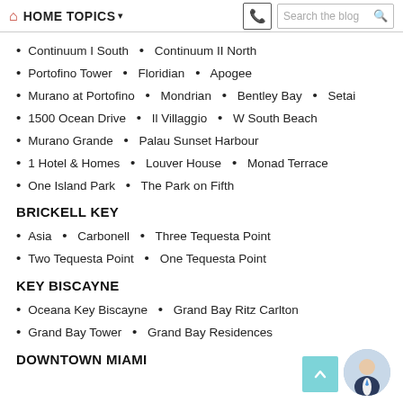HOME  TOPICS  Search the blog
Continuum I South • Continuum II North
Portofino Tower • Floridian • Apogee
Murano at Portofino • Mondrian • Bentley Bay • Setai
1500 Ocean Drive • Il Villaggio • W South Beach
Murano Grande • Palau Sunset Harbour
1 Hotel & Homes • Louver House • Monad Terrace
One Island Park • The Park on Fifth
BRICKELL KEY
Asia • Carbonell • Three Tequesta Point
Two Tequesta Point • One Tequesta Point
KEY BISCAYNE
Oceana Key Biscayne • Grand Bay Ritz Carlton
Grand Bay Tower • Grand Bay Residences
DOWNTOWN MIAMI